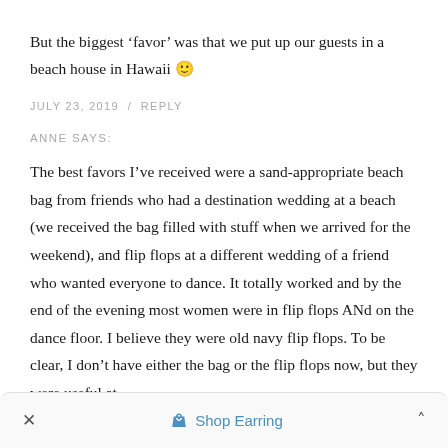But the biggest ‘favor’ was that we put up our guests in a beach house in Hawaii 🙂
JULY 23, 2019  /  REPLY
ANNE SAYS:
The best favors I’ve received were a sand-appropriate beach bag from friends who had a destination wedding at a beach (we received the bag filled with stuff when we arrived for the weekend), and flip flops at a different wedding of a friend who wanted everyone to dance. It totally worked and by the end of the evening most women were in flip flops ANd on the dance floor. I believe they were old navy flip flops. To be clear, I don’t have either the bag or the flip flops now, but they were useful at
×  Shop Earring  ˄